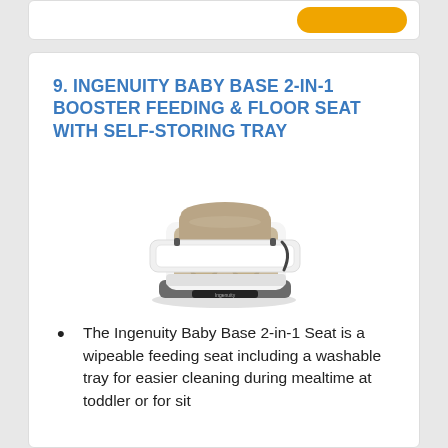9. INGENUITY BABY BASE 2-IN-1 BOOSTER FEEDING & FLOOR SEAT WITH SELF-STORING TRAY
[Figure (photo): Product photo of the Ingenuity Baby Base 2-in-1 booster feeding and floor seat with self-storing tray. The seat is beige/tan colored with a white tray attachment, sitting on a dark gray base.]
The Ingenuity Baby Base 2-in-1 Seat is a wipeable feeding seat including a washable tray for easier cleaning during mealtime at toddler or for sit